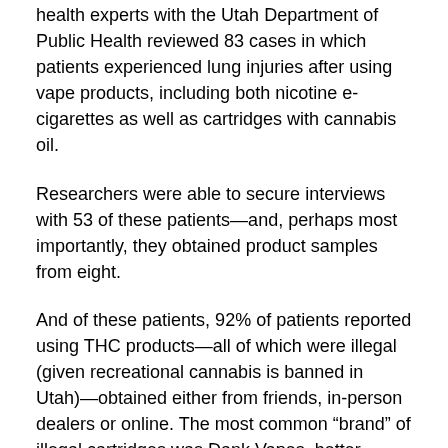health experts with the Utah Department of Public Health reviewed 83 cases in which patients experienced lung injuries after using vape products, including both nicotine e-cigarettes as well as cartridges with cannabis oil.
Researchers were able to secure interviews with 53 of these patients—and, perhaps most importantly, they obtained product samples from eight.
And of these patients, 92% of patients reported using THC products—all of which were illegal (given recreational cannabis is banned in Utah)—obtained either from friends, in-person dealers or online. The most common “brand” of illegal cartridges was Dank Vapes, better understood as readily available packaging ideal for an underground cartridge merchant. And of the 19 cartridges available for analysis, “evidence of vitamin E acetate”—a “cutting” agent discovered in other states that, when introduced to the lungs, can lead to “lipoid pneumonia,” an inflammatory response to fat in the lungs—was found in 17, or 89%.